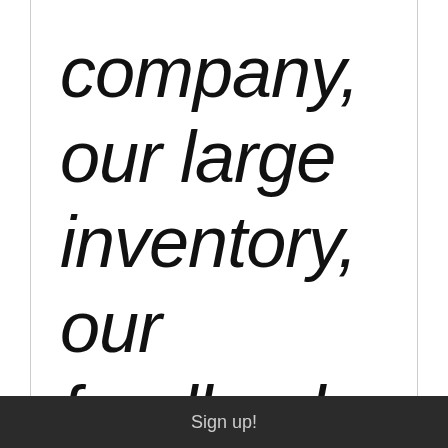company, our large inventory, our feedback, combined
Sign up!